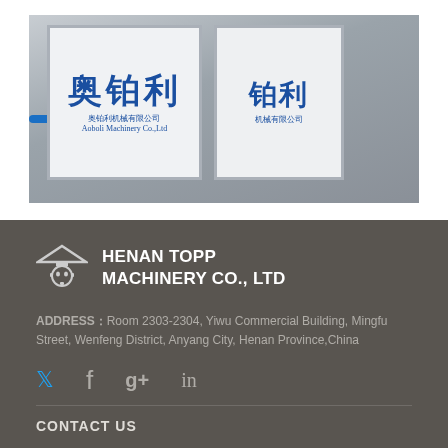[Figure (photo): Photo of two white metal-framed panels/signs with blue Chinese characters (奥铂利) and smaller text, displayed in a factory or warehouse setting with a blue cable visible on the left.]
HENAN TOPP MACHINERY CO., LTD
ADDRESS：Room 2303-2304, Yiwu Commercial Building, Mingfu Street, Wenfeng District, Anyang City, Henan Province,China
CONTACT US